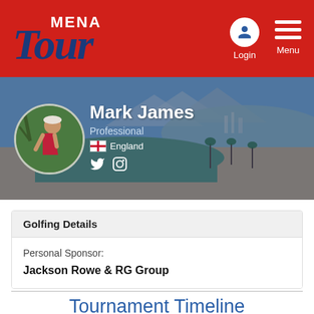MENA Tour
[Figure (screenshot): Profile banner with landscape golf course background showing Mark James, Professional golfer from England]
Mark James
Professional
England
Golfing Details
Personal Sponsor:
Jackson Rowe & RG Group
Tournament Timeline